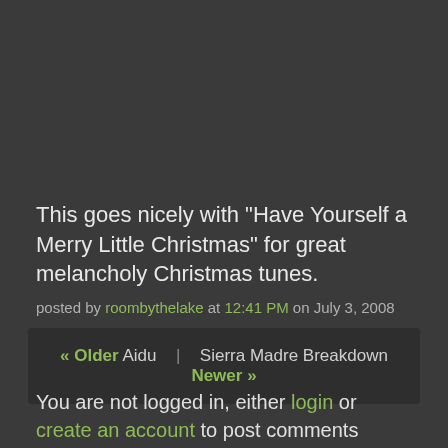This goes nicely with "Have Yourself a Merry Little Christmas" for great melancholy Christmas tunes.
posted by roombythelake at 12:41 PM on July 3, 2008
« Older Aidu | Sierra Madre Breakdown Newer »
You are not logged in, either login or create an account to post comments